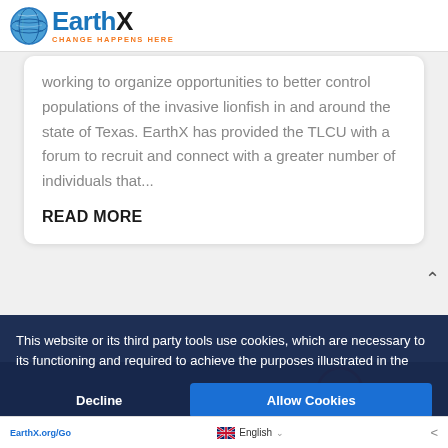EarthX — CHANGE HAPPENS HERE
working to organize opportunities to better control populations of the invasive lionfish in and around the state of Texas. EarthX has provided the TLCU with a forum to recruit and connect with a greater number of individuals that...
READ MORE
[Figure (photo): Partially visible bottom section photo with overlay]
This website or its third party tools use cookies, which are necessary to its functioning and required to achieve the purposes illustrated in the
Decline
Allow Cookies
EarthX.org/Go  English  (share icon)